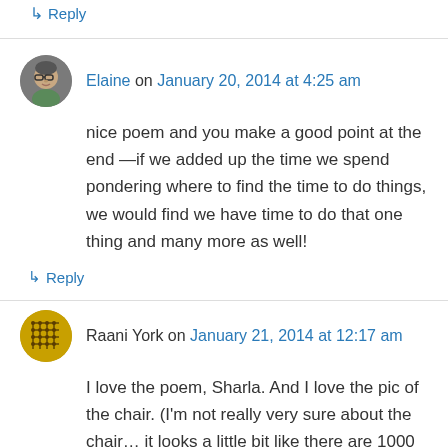↳ Reply
Elaine on January 20, 2014 at 4:25 am
nice poem and you make a good point at the end —if we added up the time we spend pondering where to find the time to do things, we would find we have time to do that one thing and many more as well!
↳ Reply
Raani York on January 21, 2014 at 12:17 am
I love the poem, Sharla. And I love the pic of the chair. (I'm not really very sure about the chair… it looks a little bit like there are 1000 spiders crawling all over it)